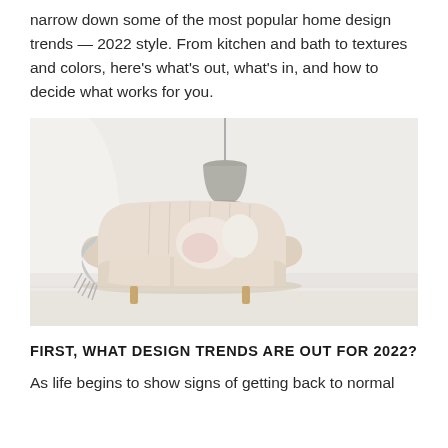narrow down some of the most popular home design trends — 2022 style. From kitchen and bath to textures and colors, here's what's out, what's in, and how to decide what works for you.
[Figure (photo): A minimalist living room with a cream/beige curved sofa with cushions, a gray knit blanket draped over the arm, a pendant lamp hanging from the ceiling, all against a light gray/white wall with light wood floor.]
FIRST, WHAT DESIGN TRENDS ARE OUT FOR 2022?
As life begins to show signs of getting back to normal